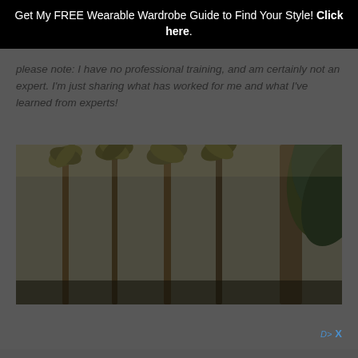Get My FREE Wearable Wardrobe Guide to Find Your Style! Click here.
please note: I have no professional training, and am certainly not an expert. I'm just sharing what has worked for me and what I've learned from experts!
[Figure (photo): Photograph of tall palm trees and tropical foliage, dark/moody tones with brownish-green hues]
Ad X